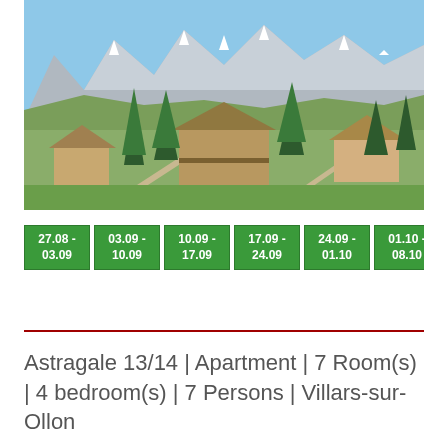[Figure (photo): Aerial/elevated panoramic photo of alpine village with chalets and evergreen trees, snow-capped mountains in background under clear blue sky. Location is Villars-sur-Ollon, Switzerland.]
27.08 - 03.09 | 03.09 - 10.09 | 10.09 - 17.09 | 17.09 - 24.09 | 24.09 - 01.10 | 01.10 - 08.10 | 08 - 1
Astragale 13/14 | Apartment | 7 Room(s) | 4 bedroom(s) | 7 Persons | Villars-sur-Ollon